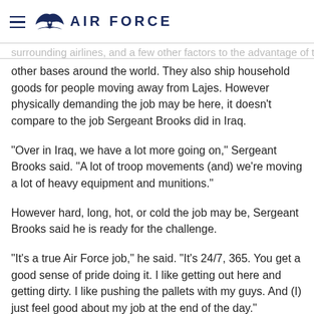AIR FORCE
other bases around the world. They also ship household goods for people moving away from Lajes. However physically demanding the job may be here, it doesn't compare to the job Sergeant Brooks did in Iraq.
"Over in Iraq, we have a lot more going on," Sergeant Brooks said. "A lot of troop movements (and) we're moving a lot of heavy equipment and munitions."
However hard, long, hot, or cold the job may be, Sergeant Brooks said he is ready for the challenge.
"It's a true Air Force job," he said. "It's 24/7, 365. You get a good sense of pride doing it. I like getting out here and getting dirty. I like pushing the pallets with my guys. And (I) just feel good about my job at the end of the day."